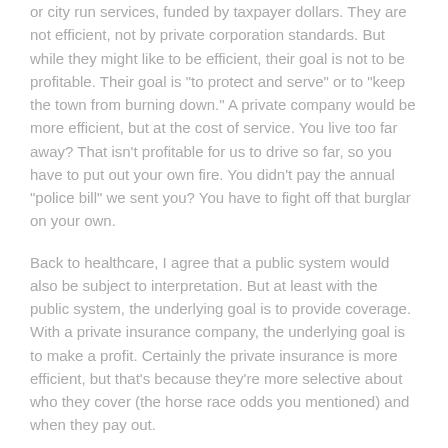or city run services, funded by taxpayer dollars. They are not efficient, not by private corporation standards. But while they might like to be efficient, their goal is not to be profitable. Their goal is "to protect and serve" or to "keep the town from burning down." A private company would be more efficient, but at the cost of service. You live too far away? That isn't profitable for us to drive so far, so you have to put out your own fire. You didn't pay the annual "police bill" we sent you? You have to fight off that burglar on your own.
Back to healthcare, I agree that a public system would also be subject to interpretation. But at least with the public system, the underlying goal is to provide coverage. With a private insurance company, the underlying goal is to make a profit. Certainly the private insurance is more efficient, but that's because they're more selective about who they cover (the horse race odds you mentioned) and when they pay out.
Neither system is perfect. And I'm speaking in great generalizations here, so there are variations of both public